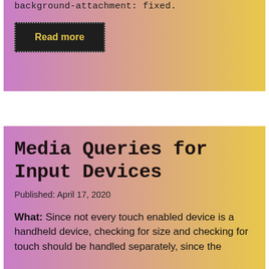background-attachment: fixed.
Read more
Media Queries for Input Devices
Published: April 17, 2020
What: Since not every touch enabled device is a handheld device, checking for size and checking for touch should be handled separately, since the